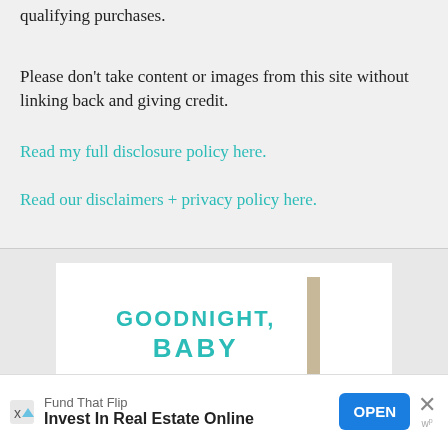qualifying purchases.
Please don't take content or images from this site without linking back and giving credit.
Read my full disclosure policy here.
Read our disclaimers + privacy policy here.
[Figure (other): Advertisement banner showing 'GOODNIGHT, BABY' book with teal text and a book spine illustration]
Fund That Flip
Invest In Real Estate Online
OPEN